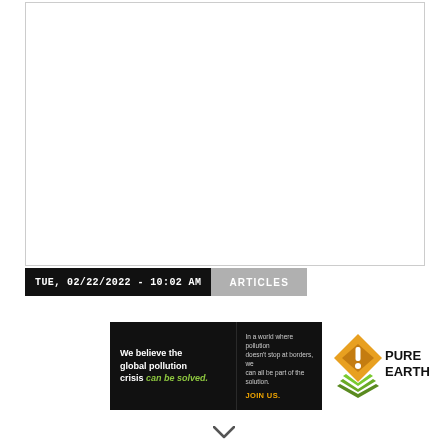[Figure (other): White image area / screenshot placeholder with border]
TUE, 02/22/2022 - 10:02 AM   ARTICLES
[Figure (infographic): Pure Earth advertisement banner. Left black panel: 'We believe the global pollution crisis can be solved.' Center black panel: 'In a world where pollution doesn't stop at borders, we can all be part of the solution. JOIN US.' Right white panel: Pure Earth logo with diamond/chevron icon and bold text 'PURE EARTH'.]